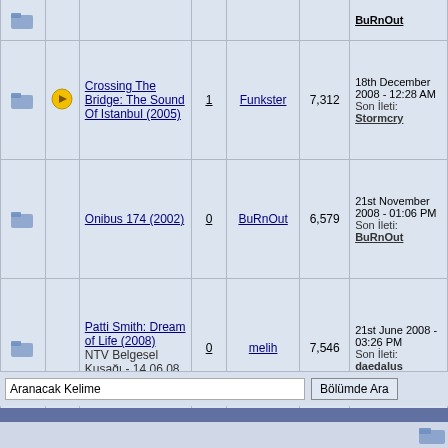|  |  | Title | Replies | Author | Views | Last Post |
| --- | --- | --- | --- | --- | --- | --- |
| [folder] | [arrow] | BuRnOut |  |  |  |  |
| [folder] | [arrow] | Crossing The Bridge: The Sound Of Istanbul (2005) | 1 | Funkster | 7,312 | 18th December 2008 - 12:28 AM
Son İleti: Stormcry |
| [folder] |  | Onibus 174 (2002) | 0 | BuRnOut | 6,579 | 21st November 2008 - 01:06 PM
Son İleti: BuRnOut |
| [folder] |  | Patti Smith: Dream of Life (2008)
NTV Belgesel Kuşağı - 14.06.08 | 0 | melih | 7,546 | 21st June 2008 - 03:26 PM
Son İleti: daedalus |
| [folder] | [arrow] | Born Into Brothels: Calcutta's Red Light Kids (2004) | 0 | Funkster | 7,057 | 28th August 2007 - 10:01 AM
Son İleti: Funkster |
Aranacak Kelime
Bölümde Ara